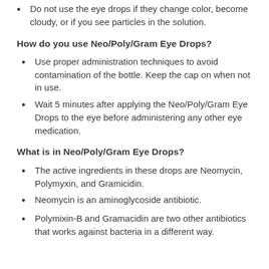Do not use the eye drops if they change color, become cloudy, or if you see particles in the solution.
How do you use Neo/Poly/Gram Eye Drops?
Use proper administration techniques to avoid contamination of the bottle. Keep the cap on when not in use.
Wait 5 minutes after applying the Neo/Poly/Gram Eye Drops to the eye before administering any other eye medication.
What is in Neo/Poly/Gram Eye Drops?
The active ingredients in these drops are Neomycin, Polymyxin, and Gramicidin.
Neomycin is an aminoglycoside antibiotic.
Polymixin-B and Gramacidin are two other antibiotics that works against bacteria in a different way.